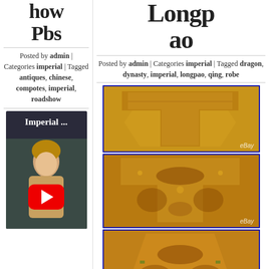...how Pbs
Posted by admin | Categories imperial | Tagged antiques, chinese, compotes, imperial, roadshow
[Figure (screenshot): YouTube video thumbnail showing 'Imperial ...' with a person visible and red play button]
Longpao
Posted by admin | Categories imperial | Tagged dragon, dynasty, imperial, longpao, qing, robe
[Figure (photo): eBay image of a yellow/gold imperial Chinese longpao robe, front view showing T-shape]
[Figure (photo): eBay image of a yellow/gold imperial Chinese longpao robe with dragon embroidery, detailed view]
[Figure (photo): eBay image of a yellow/gold imperial Chinese longpao robe, lower/skirt section view]